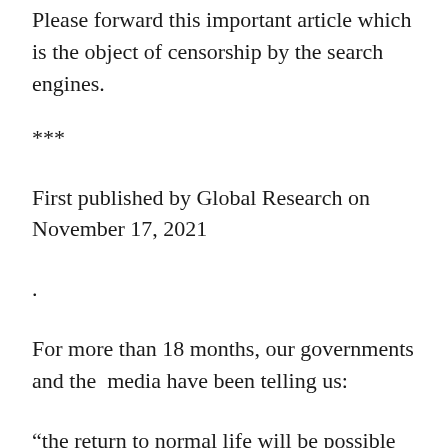Please forward this important article which is the object of censorship by the search engines.
***
First published by Global Research on November 17, 2021
.
For more than 18 months, our governments and the  media have been telling us:
“the return to normal life will be possible